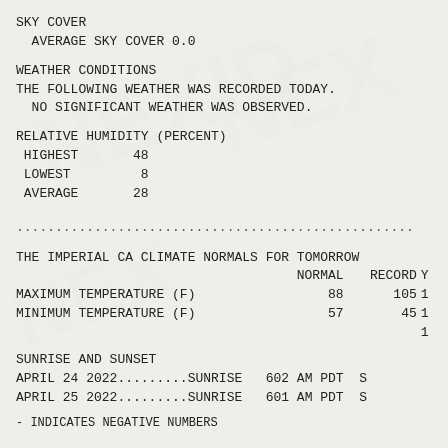SKY COVER
AVERAGE SKY COVER 0.0
WEATHER CONDITIONS
THE FOLLOWING WEATHER WAS RECORDED TODAY.
  NO SIGNIFICANT WEATHER WAS OBSERVED.
RELATIVE HUMIDITY (PERCENT)
HIGHEST       48
 LOWEST         8
 AVERAGE        28
...............................................
THE IMPERIAL CA CLIMATE NORMALS FOR TOMORROW
|  | NORMAL | RECORD | Y |
| --- | --- | --- | --- |
| MAXIMUM TEMPERATURE (F) | 88 | 105 | 1 |
| MINIMUM TEMPERATURE (F) | 57 | 45 | 1 |
|  |  |  | 1 |
SUNRISE AND SUNSET
APRIL 24 2022.........SUNRISE   602 AM PDT  S
APRIL 25 2022.........SUNRISE   601 AM PDT  S
- INDICATES NEGATIVE NUMBERS